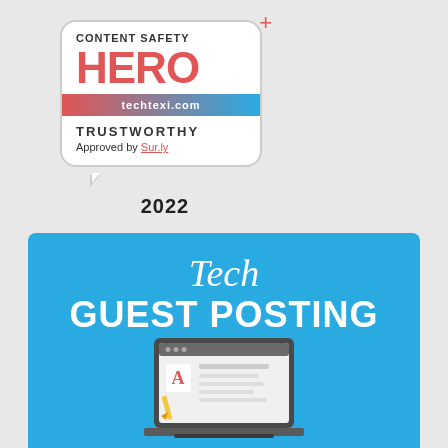[Figure (logo): Content Safety HERO badge: speech bubble shape with 'CONTENT SAFETY' text, large red 'HERO' text, a gradient ribbon with 'techtexi.com', 'TRUSTWORTHY' text, 'Approved by Sur.ly' text, a plus icon, and '2022' year below.]
[Figure (illustration): Teal/cyan banner with 'Tech' in italic serif white text and 'GUEST POSTING' in bold white text, with a partial laptop/monitor illustration at the bottom showing a content editing interface.]